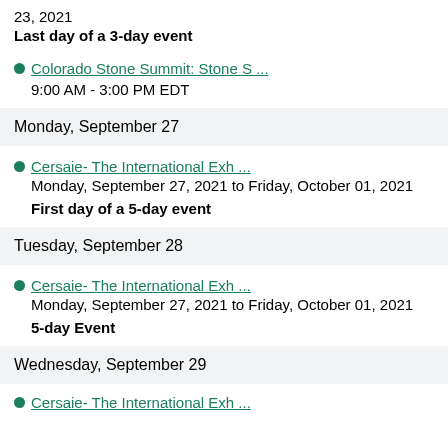23, 2021
Last day of a 3-day event
Colorado Stone Summit: Stone S ...
9:00 AM - 3:00 PM EDT
Monday, September 27
Cersaie- The International Exh ...
Monday, September 27, 2021 to Friday, October 01, 2021
First day of a 5-day event
Tuesday, September 28
Cersaie- The International Exh ...
Monday, September 27, 2021 to Friday, October 01, 2021
5-day Event
Wednesday, September 29
Cersaie- The International Exh ...